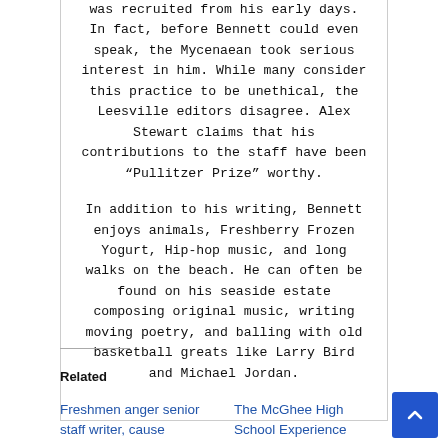was recruited from his early days. In fact, before Bennett could even speak, the Mycenaean took serious interest in him. While many consider this practice to be unethical, the Leesville editors disagree. Alex Stewart claims that his contributions to the staff have been "Pullitzer Prize" worthy.

In addition to his writing, Bennett enjoys animals, Freshberry Frozen Yogurt, Hip-hop music, and long walks on the beach. He can often be found on his seaside estate composing original music, writing moving poetry, and balling with old basketball greats like Larry Bird and Michael Jordan.
Related
Freshmen anger senior staff writer, cause
The McGhee High School Experience